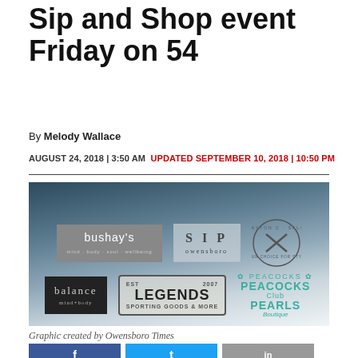Sip and Shop event Friday on 54
By Melody Wallace
AUGUST 24, 2018 | 3:50 AM  UPDATED SEPTEMBER 10, 2018 | 10:50 PM
[Figure (illustration): Graphic showing logos of participating businesses: Bushay's, Sip Owensboro, Clayton C Salon, Balance mind+body, Legends, and Peacocks and Pearls Boutique]
Graphic created by Owensboro Times